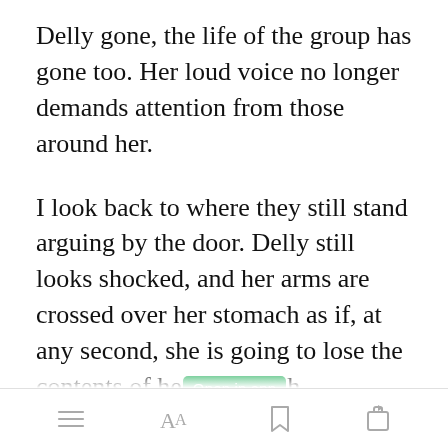Delly gone, the life of the group has gone too. Her loud voice no longer demands attention from those around her.
I look back to where they still stand arguing by the door. Delly still looks shocked, and her arms are crossed over her stomach as if, at any second, she is going to lose the contents of her stomach. Johanna's
[Figure (screenshot): Green 'Open in app' button overlay on text]